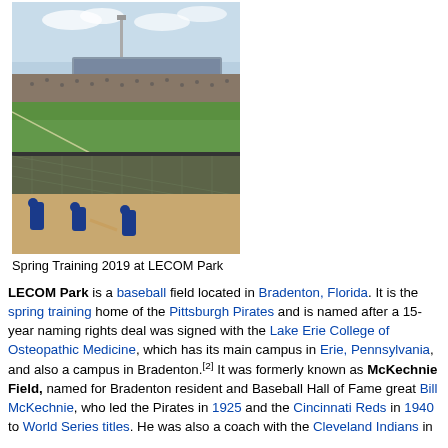[Figure (photo): Photograph of LECOM Park (formerly McKechnie Field) during Spring Training 2019, showing the baseball field from behind the bullpen/dugout area, with green grass field, spectators in stands, and a covered grandstand structure in background.]
Spring Training 2019 at LECOM Park
LECOM Park is a baseball field located in Bradenton, Florida. It is the spring training home of the Pittsburgh Pirates and is named after a 15-year naming rights deal was signed with the Lake Erie College of Osteopathic Medicine, which has its main campus in Erie, Pennsylvania, and also a campus in Bradenton.[2] It was formerly known as McKechnie Field, named for Bradenton resident and Baseball Hall of Fame great Bill McKechnie, who led the Pirates in 1925 and the Cincinnati Reds in 1940 to World Series titles. He was also a coach with the Cleveland Indians in